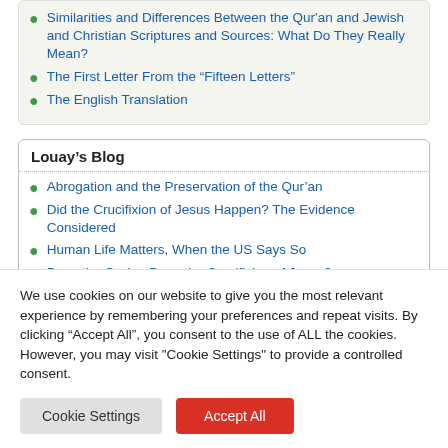Similarities and Differences Between the Qur'an and Jewish and Christian Scriptures and Sources: What Do They Really Mean?
The First Letter From the “Fifteen Letters”
The English Translation
Louay’s Blog
Abrogation and the Preservation of the Qur’an
Did the Crucifixion of Jesus Happen? The Evidence Considered
Human Life Matters, When the US Says So
Does the Qur’an Deny the Crucifixion of Jesus?
Did Muslim Exegetes Ever Accept Jesus’ Crucifixion? Debunking a Recent Myth...
We use cookies on our website to give you the most relevant experience by remembering your preferences and repeat visits. By clicking “Accept All”, you consent to the use of ALL the cookies. However, you may visit "Cookie Settings" to provide a controlled consent.
Cookie Settings | Accept All